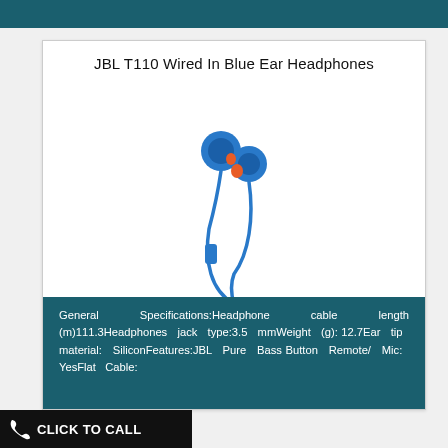JBL T110 Wired In Blue Ear Headphones
[Figure (photo): JBL T110 blue wired in-ear headphones with flat cable and microphone button, shown against white background]
General Specifications:Headphone cable length (m)111.3Headphones jack type:3.5 mmWeight (g): 12.7Ear tip material: SiliconFeatures:JBL Pure Bass Button Remote/ Mic: YesFlat Cable:
CLICK TO CALL